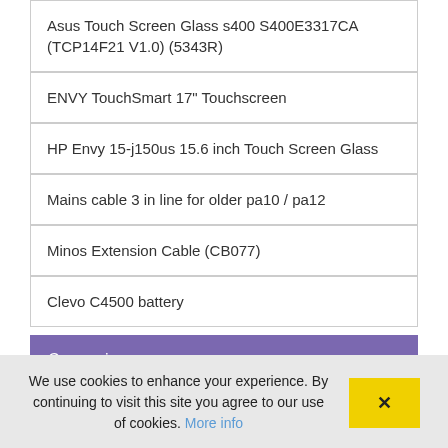| Asus Touch Screen Glass s400 S400E3317CA (TCP14F21 V1.0) (5343R) |
| ENVY TouchSmart 17" Touchscreen |
| HP Envy 15-j150us 15.6 inch Touch Screen Glass |
| Mains cable 3 in line for older pa10 / pa12 |
| Minos Extension Cable (CB077) |
| Clevo C4500 battery |
Currencies
We use cookies to enhance your experience. By continuing to visit this site you agree to our use of cookies. More info